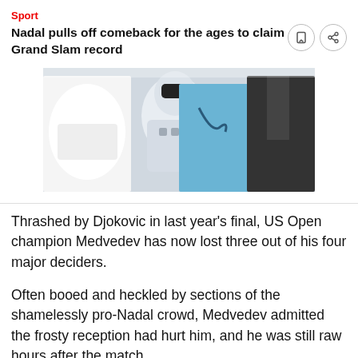Sport
Nadal pulls off comeback for the ages to claim Grand Slam record
[Figure (photo): Photo showing a humanoid robot flanked by people in medical/business attire — a doctor in white coat on left, a nurse in blue scrubs in center, and a person in dark business suit on right.]
Thrashed by Djokovic in last year's final, US Open champion Medvedev has now lost three out of his four major deciders.
Often booed and heckled by sections of the shamelessly pro-Nadal crowd, Medvedev admitted the frosty reception had hurt him, and he was still raw hours after the match.
After a lengthy monologue in his post-match media